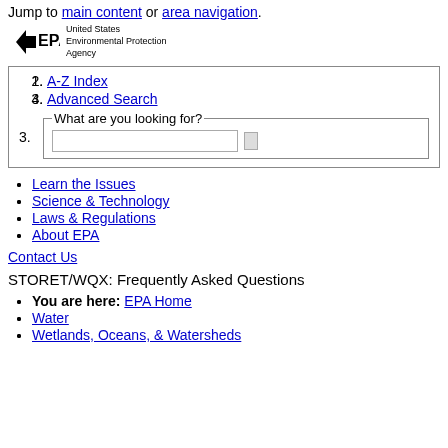Jump to main content or area navigation.
[Figure (logo): United States Environmental Protection Agency (EPA) logo with leaf icon]
1. A-Z Index
2. Advanced Search
3. What are you looking for? [search box]
Learn the Issues
Science & Technology
Laws & Regulations
About EPA
Contact Us
STORET/WQX: Frequently Asked Questions
You are here: EPA Home
Water
Wetlands, Oceans, & Watersheds